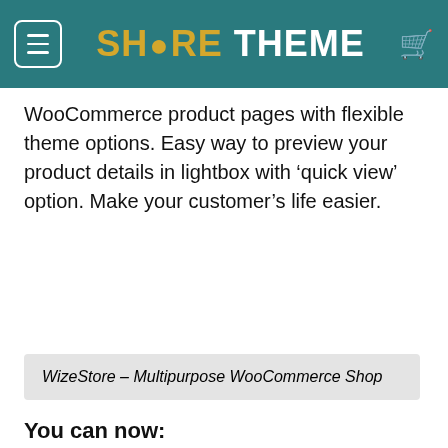SH<RE THEME
WooCommerce product pages with flexible theme options. Easy way to preview your product details in lightbox with ‘quick view’ option. Make your customer’s life easier.
WizeStore – Multipurpose WooCommerce Shop
You can now: